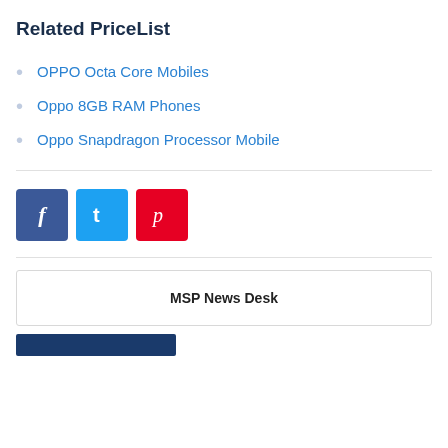Related PriceList
OPPO Octa Core Mobiles
Oppo 8GB RAM Phones
Oppo Snapdragon Processor Mobile
[Figure (other): Social share buttons: Facebook (blue), Twitter (light blue), Pinterest (red)]
MSP News Desk